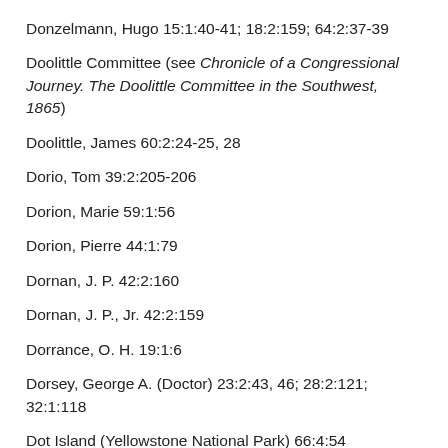Donzelmann, Hugo 15:1:40-41; 18:2:159; 64:2:37-39
Doolittle Committee (see Chronicle of a Congressional Journey. The Doolittle Committee in the Southwest, 1865)
Doolittle, James 60:2:24-25, 28
Dorio, Tom 39:2:205-206
Dorion, Marie 59:1:56
Dorion, Pierre 44:1:79
Dornan, J. P. 42:2:160
Dornan, J. P., Jr. 42:2:159
Dorrance, O. H. 19:1:6
Dorsey, George A. (Doctor) 23:2:43, 46; 28:2:121; 32:1:118
Dot Island (Yellowstone National Park) 66:4:54
Dotsoro, Colorado 55:2:35